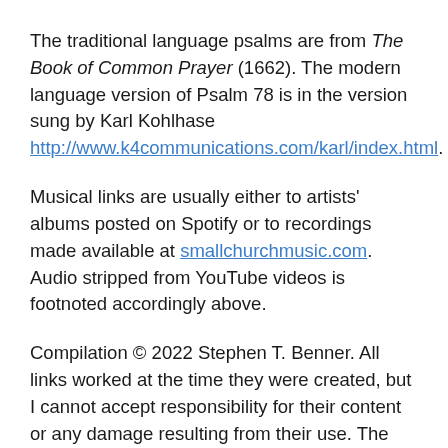The traditional language psalms are from The Book of Common Prayer (1662). The modern language version of Psalm 78 is in the version sung by Karl Kohlhase http://www.k4communications.com/karl/index.html.
Musical links are usually either to artists' albums posted on Spotify or to recordings made available at smallchurchmusic.com. Audio stripped from YouTube videos is footnoted accordingly above.
Compilation © 2022 Stephen T. Benner. All links worked at the time they were created, but I cannot accept responsibility for their content or any damage resulting from their use. The linked content is under the control of the respective content creators and is subject to change at any time. Any copyright texts included in this compilation are provided for non-commercial purposes